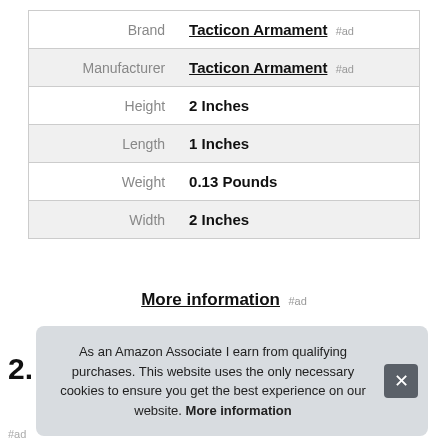| Attribute | Value |
| --- | --- |
| Brand | Tacticon Armament #ad |
| Manufacturer | Tacticon Armament #ad |
| Height | 2 Inches |
| Length | 1 Inches |
| Weight | 0.13 Pounds |
| Width | 2 Inches |
More information #ad
2.
As an Amazon Associate I earn from qualifying purchases. This website uses the only necessary cookies to ensure you get the best experience on our website. More information
#ad